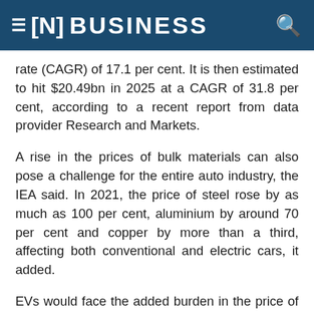[N] BUSINESS
rate (CAGR) of 17.1 per cent. It is then estimated to hit $20.49bn in 2025 at a CAGR of 31.8 per cent, according to a recent report from data provider Research and Markets.
A rise in the prices of bulk materials can also pose a challenge for the entire auto industry, the IEA said. In 2021, the price of steel rose by as much as 100 per cent, aluminium by around 70 per cent and copper by more than a third, affecting both conventional and electric cars, it added.
EVs would face the added burden in the price of their most critical component: batteries. The price of lithium carbonate surged 150 per